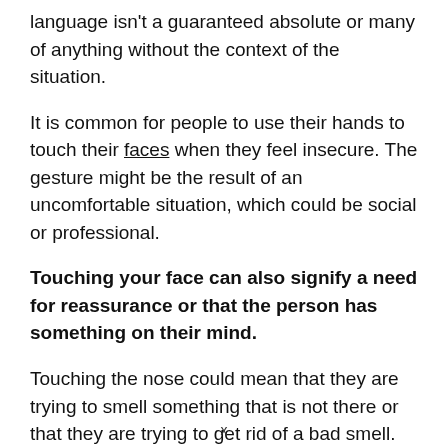language isn't a guaranteed absolute or many of anything without the context of the situation.
It is common for people to use their hands to touch their faces when they feel insecure. The gesture might be the result of an uncomfortable situation, which could be social or professional.
Touching your face can also signify a need for reassurance or that the person has something on their mind.
Touching the nose could mean that they are trying to smell something that is not there or that they are trying to get rid of a bad smell.
x